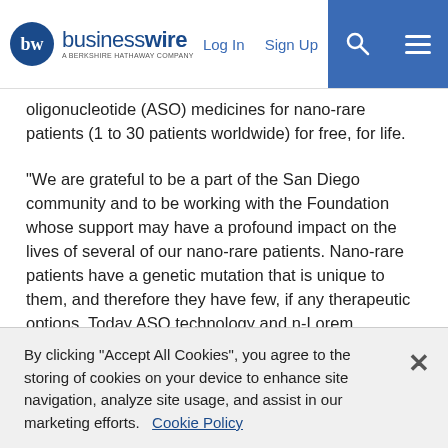businesswire — A Berkshire Hathaway Company | Log In | Sign Up
oligonucleotide (ASO) medicines for nano-rare patients (1 to 30 patients worldwide) for free, for life.
“We are grateful to be a part of the San Diego community and to be working with the Foundation whose support may have a profound impact on the lives of several of our nano-rare patients. Nano-rare patients have a genetic mutation that is unique to them, and therefore they have few, if any therapeutic options. Today ASO technology and n-Lorem represent the only option for the treatment for many of these nano-rare patients, who are desperate and isolated,” said Stanley T. Crooke, M.D., Ph.D., Founder, CEO and Chairman of n-Lorem Foundation. “We have more than 40 nano-rare patients at n-Lorem, eight of whom are located in San Diego county. Out of this work, we hope to advance several programs
By clicking “Accept All Cookies”, you agree to the storing of cookies on your device to enhance site navigation, analyze site usage, and assist in our marketing efforts.   Cookie Policy